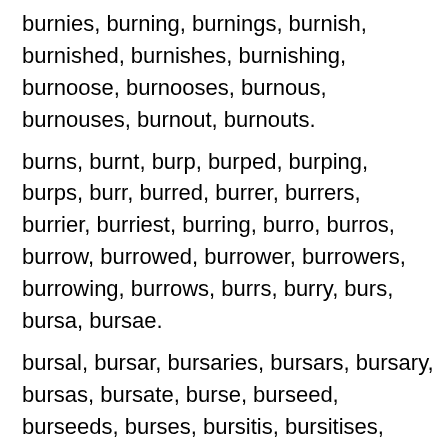burnies, burning, burnings, burnish, burnished, burnishes, burnishing, burnoose, burnooses, burnous, burnouses, burnout, burnouts.
burns, burnt, burp, burped, burping, burps, burr, burred, burrer, burrers, burrier, burriest, burring, burro, burros, burrow, burrowed, burrower, burrowers, burrowing, burrows, burrs, burry, burs, bursa, bursae.
bursal, bursar, bursaries, bursars, bursary, bursas, bursate, burse, burseed, burseeds, burses, bursitis, bursitises, burst, bursted, burster, bursters, bursting, burstone, burstones, bursts, burthen, burthened, burthening, burthens, burton, burtons, burweed, burweeds, bury, burying, bus, busbies, busboy, busboys, busby, bused.
buses, bush, bushbuck, bushbucks, bushed, bushel, busheled, busheler, bushelers, busheling, bushelled,